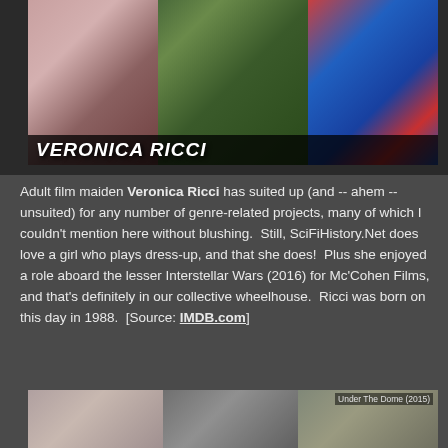[Figure (photo): Collage photo of Veronica Ricci in various costumes including a Supergirl outfit, with name overlay text 'VERONICA RICCI']
Adult film maiden Veronica Ricci has suited up (and -- ahem -- unsuited) for any number of genre-related projects, many of which I couldn't mention here without blushing.  Still, SciFiHistory.Net does love a girl who plays dress-up, and that she does!  Plus she enjoyed a role aboard the lesser Interstellar Wars (2016) for Mc'Cohen Films, and that's definitely in our collective wheelhouse.  Ricci was born on this day in 1988.  [Source: IMDB.com]
[Figure (photo): Collage of photos including a portrait of a dark-haired woman, a restrained figure, and a scene from Under The Dome (2015)]